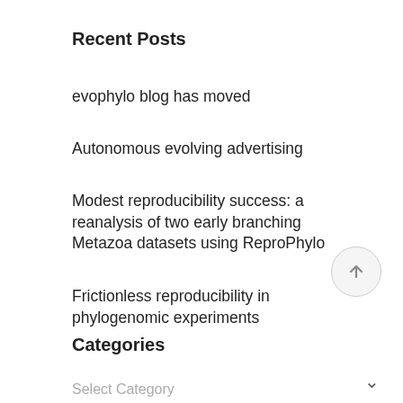Recent Posts
evophylo blog has moved
Autonomous evolving advertising
Modest reproducibility success: a reanalysis of two early branching Metazoa datasets using ReproPhylo
Frictionless reproducibility in phylogenomic experiments
ReproPhylo: a reproducible phylogenomics environment
Categories
Select Category